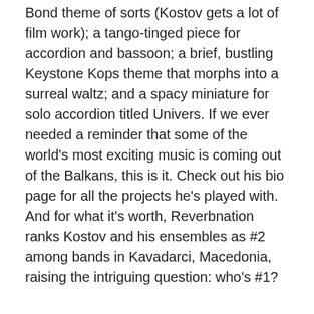Bond theme of sorts (Kostov gets a lot of film work); a tango-tinged piece for accordion and bassoon; a brief, bustling Keystone Kops theme that morphs into a surreal waltz; and a spacy miniature for solo accordion titled Univers. If we ever needed a reminder that some of the world's most exciting music is coming out of the Balkans, this is it. Check out his bio page for all the projects he's played with. And for what it's worth, Reverbnation ranks Kostov and his ensembles as #2 among bands in Kavadarci, Macedonia, raising the intriguing question: who's #1?
Privacy & Cookies: This site uses cookies. By continuing to use this website, you agree to their use.
To find out more, including how to control cookies, see here: Cookie Policy